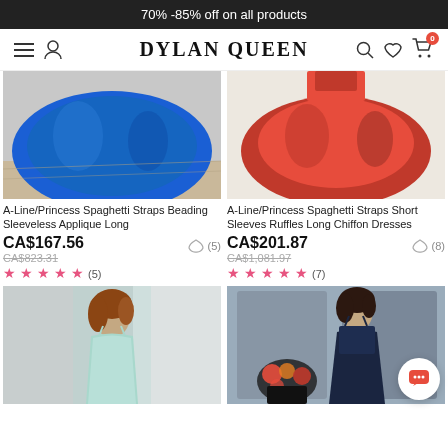70% -85% off on all products
[Figure (screenshot): Dylan Queen navigation bar with hamburger menu, user icon, logo, search, wishlist heart, and cart with 0 badge]
[Figure (photo): Blue ball gown / A-Line princess dress lower half on wooden floor]
[Figure (photo): Red chiffon A-Line/Princess spaghetti straps dress lower half]
A-Line/Princess Spaghetti Straps Beading Sleeveless Applique Long
CA$167.56
CA$823.31
★★★★★ (5)
A-Line/Princess Spaghetti Straps Short Sleeves Ruffles Long Chiffon Dresses
CA$201.87
CA$1,081.97
★★★★★ (7)
[Figure (photo): Light blue/mint spaghetti strap dress on model with auburn hair]
[Figure (photo): Navy blue beaded spaghetti strap dress on dark-haired model with flowers]